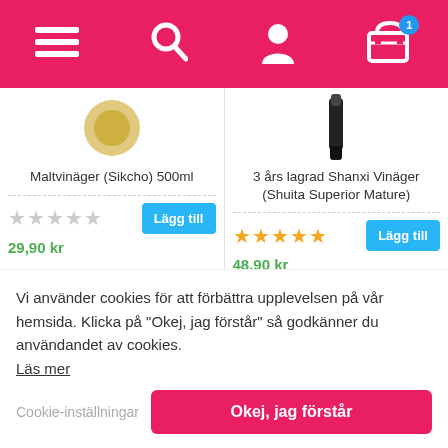[Figure (screenshot): E-commerce website header navigation bar with pink/magenta background showing hamburger menu, search icon, user profile icon, and shopping cart icon with badge showing '1']
Maltvinäger (Sikcho) 500ml
3 års lagrad Shanxi Vinäger (Shuita Superior Mature)
29,90 kr
48,90 kr
[Figure (photo): Partial product image showing bottom portion of a bottle with red cap/label]
[Figure (photo): Partial product image showing bottom portion of a dark bottle with black cap and gold label]
Vi använder cookies för att förbättra upplevelsen på vår hemsida. Klicka på "Okej, jag förstår" så godkänner du användandet av cookies.
Läs mer
Cookie-inställningar
Okej, jag förstår